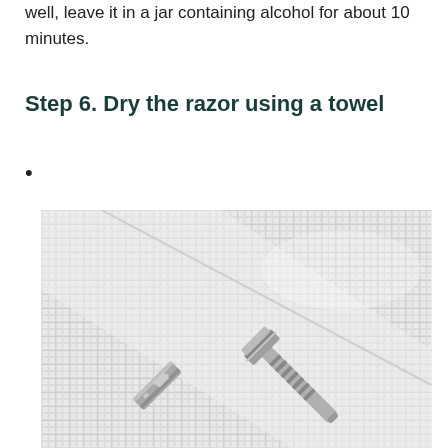well, leave it in a jar containing alcohol for about 10 minutes.
Step 6. Dry the razor using a towel
•
[Figure (photo): A safety razor and a detached razor blade resting on a white waffle-textured towel, photographed from above.]